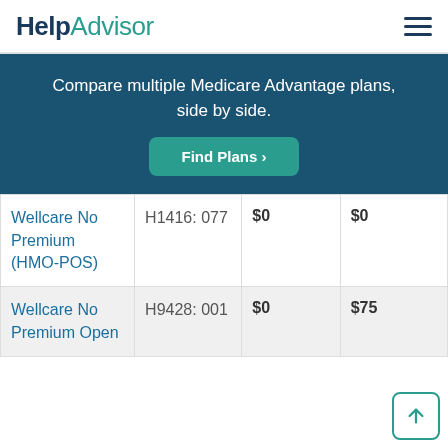HelpAdvisor
Compare multiple Medicare Advantage plans, side by side.
Find Plans >
| Plan Name | Plan ID | Premium 1 | Premium 2 |
| --- | --- | --- | --- |
| Wellcare No Premium (HMO-POS) | H1416: 077 | $0 | $0 |
| Wellcare No Premium Open | H9428: 001 | $0 | $75 |